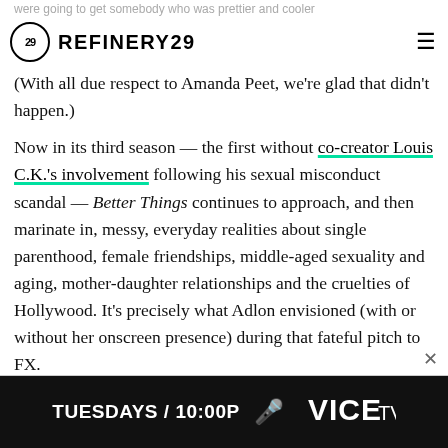were going to get somebody who was prettier and cooler
REFINERY29
(With all due respect to Amanda Peet, we're glad that didn't happen.)
Now in its third season — the first without co-creator Louis C.K.'s involvement following his sexual misconduct scandal — Better Things continues to approach, and then marinate in, messy, everyday realities about single parenthood, female friendships, middle-aged sexuality and aging, mother-daughter relationships and the cruelties of Hollywood. It's precisely what Adlon envisioned (with or without her onscreen presence) during that fateful pitch to FX.
[Figure (other): VICE TV advertisement banner: TUESDAYS / 10:00P with microphone icon and VICE TV logo on black background]